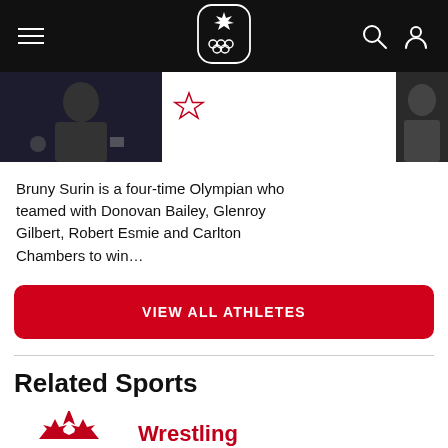Team Canada Olympic navigation bar
[Figure (photo): Athlete photo (Bruny Surin) in dark jersey, cropped]
Bruny Surin is a four-time Olympian who teamed with Donovan Bailey, Glenroy Gilbert, Robert Esmie and Carlton Chambers to win…
VIEW ALL ATHLETES
Related Sports
[Figure (logo): Wrestling Canada logo — red maple leaf / wrestler silhouette design with text WRESTLING CANADA]
Wrestling
Summer